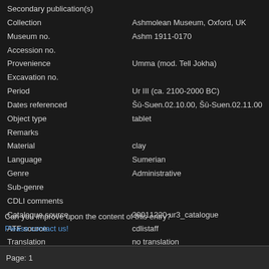| Field | Value |
| --- | --- |
| Secondary publication(s) |  |
| Collection | Ashmolean Museum, Oxford, UK |
| Museum no. | Ashm 1911-0170 |
| Accession no. |  |
| Provenience | Umma (mod. Tell Jokha) |
| Excavation no. |  |
| Period | Ur III (ca. 2100-2000 BC) |
| Dates referenced | Šū-Suen.02.10.00, Šū-Suen.02.11.00 |
| Object type | tablet |
| Remarks |  |
| Material | clay |
| Language | Sumerian |
| Genre | Administrative |
| Sub-genre |  |
| CDLI comments |  |
| Catalogue source | 20011220 ur3_catalogue |
| ATF source | cdlistaff |
| Translation | no translation |
| UCLA Library ARK | 21198/zz001rh2h8 |
| Composite no. |  |
| Seal no. | S001735 |
| CDLI no. | P142683 |
Can you improve upon the content of this entry?
Please contact us!
Page: 1